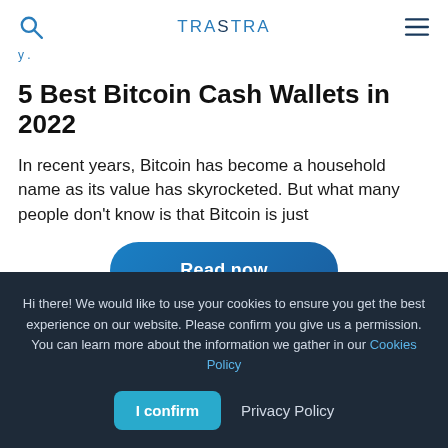TRASTRA
y .
5 Best Bitcoin Cash Wallets in 2022
In recent years, Bitcoin has become a household name as its value has skyrocketed. But what many people don't know is that Bitcoin is just
[Figure (other): Read now button — a rounded blue pill-shaped call-to-action button with white bold text reading 'Read now']
Hi there! We would like to use your cookies to ensure you get the best experience on our website. Please confirm you give us a permission. You can learn more about the information we gather in our Cookies Policy
I confirm   Privacy Policy